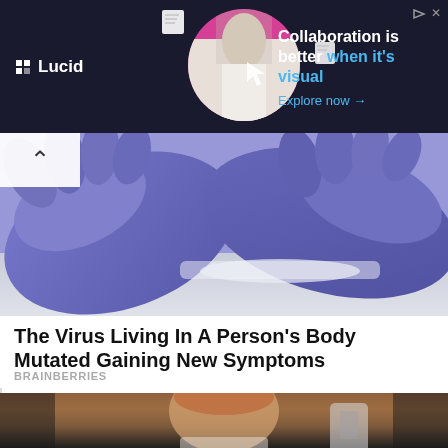[Figure (photo): Lucid advertisement banner with dark background, person in center with pink circular background, and text 'Collaboration is better when it's visual. Explore now →']
[Figure (photo): Close-up photo of gloved hands (purple/blue nitrile gloves) on a surface]
The Virus Living In A Person's Body Mutated Gaining New Symptoms
BRAINBERRIES
[Figure (photo): Celebrity woman taking a mirror selfie at a gym, wearing white top, with reddish hair pulled back]